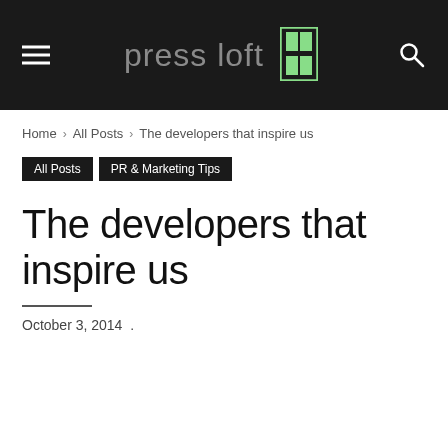Press Loft — navigation header with hamburger menu and search icon
Home › All Posts › The developers that inspire us
All Posts   PR & Marketing Tips
The developers that inspire us
October 3, 2014  .